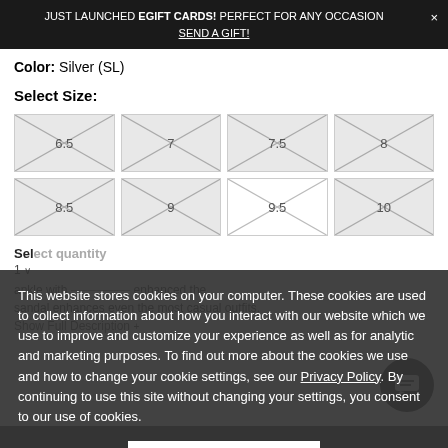JUST LAUNCHED EGIFT CARDS! PERFECT FOR ANY OCCASION × SEND A GIFT!
Color: Silver (SL)
Select Size:
[Figure (other): Size selection grid with sizes 6.5, 7, 7.5, 8 (top row) and 8.5, 9, 9.5, 10 (bottom row), each in a box with crossed diagonal lines indicating unavailable/image placeholder style]
This website stores cookies on your computer. These cookies are used to collect information about how you interact with our website which we use to improve and customize your experience as well as for analytic and marketing purposes. To find out more about the cookies we use and how to change your cookie settings, see our Privacy Policy. By continuing to use this site without changing your settings, you consent to our use of cookies.
I AGREE